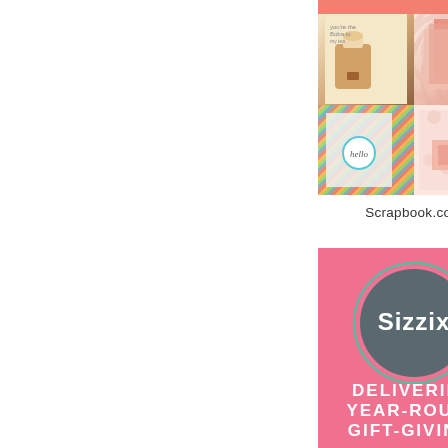[Figure (photo): Grid of four craft/scrapbook card photos: top-left shows a bubble tea cup illustration card, top-right shows a rose-textured card with tassel and gift topper, bottom-left shows a colorful striped card with 'hello' badge, bottom-right shows a rose-embossed pink card with layered panels.]
Scrapbook.com
[Figure (logo): Sizzix brand advertisement on pink background: dark grey circle with Sizzix® logo in white, teal/pink ring border, with text 'DELIVERING YEAR-ROUND GIFT-GIVING!' below in white bold uppercase letters.]